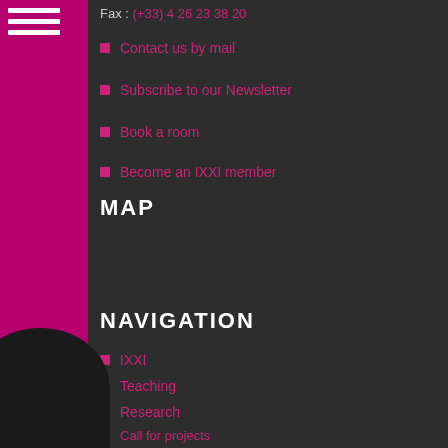Fax : (+33) 4 26 23 38 20
Contact us by mail
Subscribe to our Newsletter
Book a room
Become an IXXI member
MAP
NAVIGATION
IXXI
Teaching
Research
Call for projects
Agenda